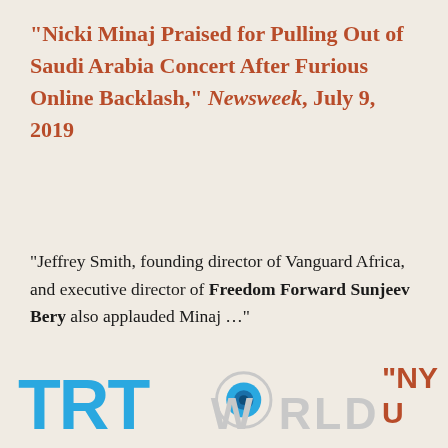“Nicki Minaj Praised for Pulling Out of Saudi Arabia Concert After Furious Online Backlash,” Newsweek, July 9, 2019
“Jeffrey Smith, founding director of Vanguard Africa, and executive director of Freedom Forward Sunjeev Bery also applauded Minaj …”
[Figure (logo): TRT World logo with blue TRT letters and grey WORLD text with a globe icon]
“NY U